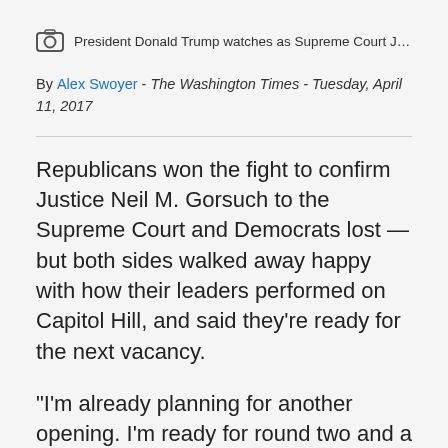President Donald Trump watches as Supreme Court Just
By Alex Swoyer - The Washington Times - Tuesday, April 11, 2017
Republicans won the fight to confirm Justice Neil M. Gorsuch to the Supreme Court and Democrats lost — but both sides walked away happy with how their leaders performed on Capitol Hill, and said they're ready for the next vacancy.
“I’m already planning for another opening. I’m ready for round two and a potential round